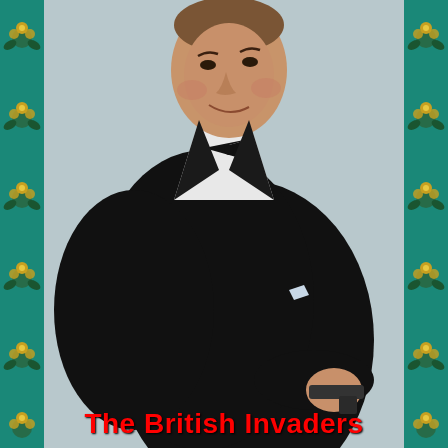[Figure (photo): A man in a black tuxedo with bow tie pointing a handgun toward the camera, posed against a light blue-grey background. The figure is shown from the waist up in a classic spy/James Bond promotional photo style.]
The British Invaders